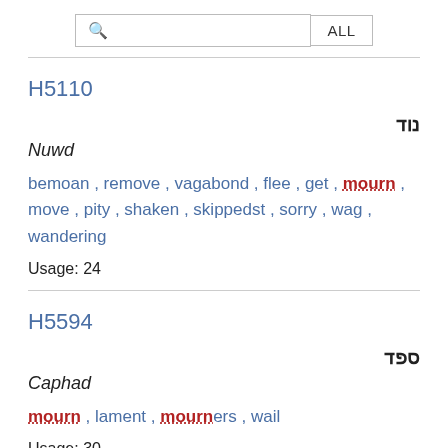[Figure (screenshot): Search bar with magnifying glass icon and ALL button]
H5110
נוד
Nuwd
bemoan , remove , vagabond , flee , get , mourn , move , pity , shaken , skippedst , sorry , wag , wandering
Usage: 24
H5594
ספד
Caphad
mourn , lament , mourners , wail
Usage: 30